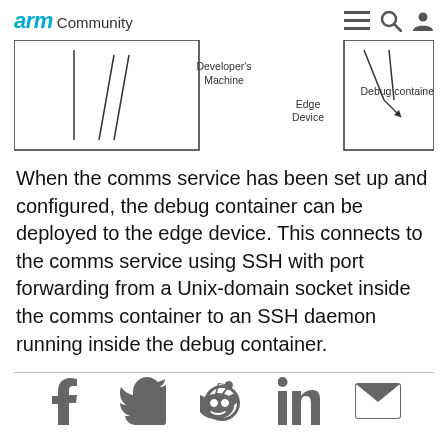arm Community
[Figure (engineering-diagram): Partial diagram showing Developer's Machine box on the left, Edge Device label in the middle, and Debug container box on the right with diagonal lines indicating connections.]
When the comms service has been set up and configured, the debug container can be deployed to the edge device. This connects to the comms service using SSH with port forwarding from a Unix-domain socket inside the comms container to an SSH daemon running inside the debug container.
Social sharing icons: Facebook, Twitter, Reddit, LinkedIn, Email